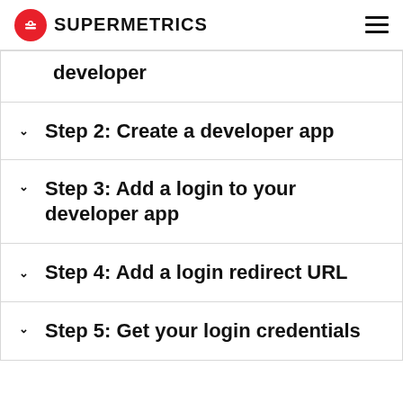SUPERMETRICS
developer
Step 2: Create a developer app
Step 3: Add a login to your developer app
Step 4: Add a login redirect URL
Step 5: Get your login credentials